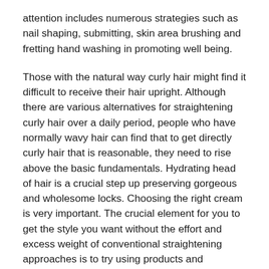attention includes numerous strategies such as nail shaping, submitting, skin area brushing and fretting hand washing in promoting well being.
Those with the natural way curly hair might find it difficult to receive their hair upright. Although there are various alternatives for straightening curly hair over a daily period, people who have normally wavy hair can find that to get directly curly hair that is reasonable, they need to rise above the basic fundamentals. Hydrating head of hair is a crucial step up preserving gorgeous and wholesome locks. Choosing the right cream is very important. The crucial element for you to get the style you want without the effort and excess weight of conventional straightening approaches is to try using products and solutions that are rich in Vitamins and minerals A and E.